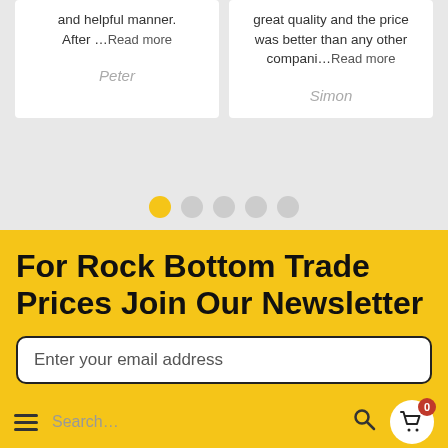and helpful manner. After …Read more
Peter
great quality and the price was better than any other compani...Read more
Simon
[Figure (other): Carousel navigation dots: 5 dots, first one active (yellow), rest gray]
For Rock Bottom Trade Prices Join Our Newsletter
Enter your email address
Search...